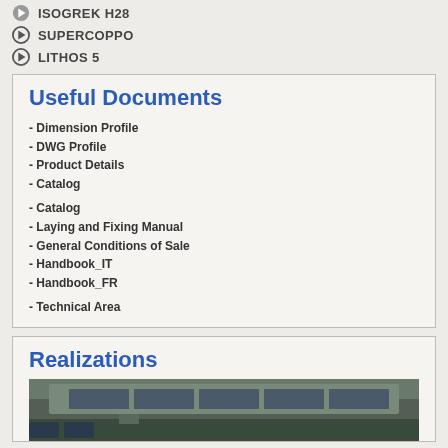ISOGREK H28
SUPERCOPPO
LITHOS 5
Useful Documents
- Dimension Profile
- DWG Profile
- Product Details
- Catalog
- Catalog
- Laying and Fixing Manual
- General Conditions of Sale
- Handbook_IT
- Handbook_FR
- Technical Area
Realizations
[Figure (photo): Aerial view of an industrial building with solar panels on the roof]